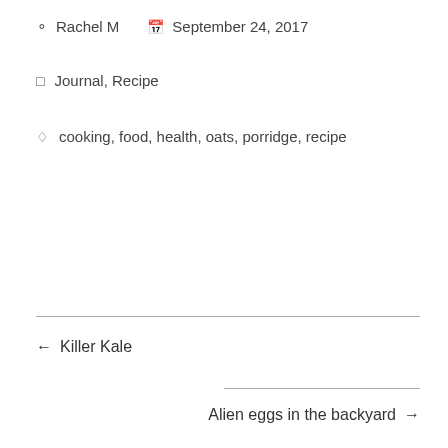Rachel M   September 24, 2017
Journal, Recipe
cooking, food, health, oats, porridge, recipe
← Killer Kale
Alien eggs in the backyard →